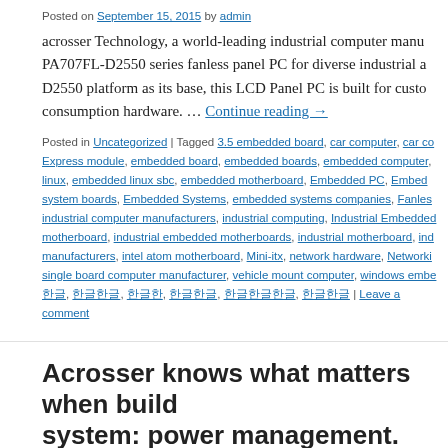Posted on September 15, 2015 by admin
acrosser Technology, a world-leading industrial computer manu... PA707FL-D2550 series fanless panel PC for diverse industrial a... D2550 platform as its base, this LCD Panel PC is built for custo... consumption hardware. … Continue reading →
Posted in Uncategorized | Tagged 3.5 embedded board, car computer, car co... Express module, embedded board, embedded boards, embedded computer, ... linux, embedded linux sbc, embedded motherboard, Embedded PC, Embed... system boards, Embedded Systems, embedded systems companies, Fanles... industrial computer manufacturers, industrial computing, Industrial Embedded... motherboard, industrial embedded motherboards, industrial motherboard, ind... manufacturers, intel atom motherboard, Mini-itx, network hardware, Networki... single board computer manufacturer, vehicle mount computer, windows embe... 한글, 한글한글, 한글한, 한글한글, 한글한글한글, 한글한글 | Leave a comment
Acrosser knows what matters when build... system: power management.
Posted on September 11, 2015 by admin